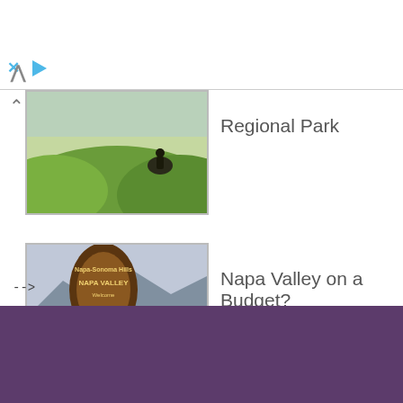[Figure (screenshot): Toolbar with X and play button icons]
[Figure (photo): Thumbnail image of green landscape with person on horseback, partially visible at top]
Regional Park
[Figure (photo): Thumbnail image of Napa Valley sign with hills in background]
Napa Valley on a Budget?
-->
[Figure (other): Purple/dark mauve footer bar]